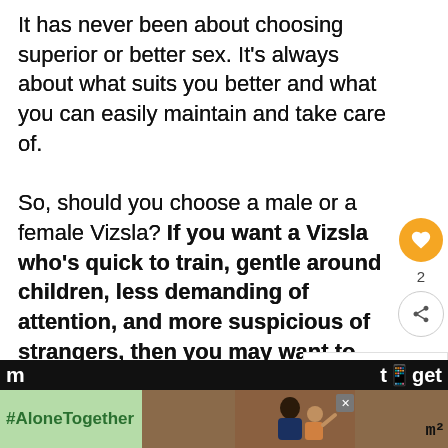It has never been about choosing superior or better sex. It's always about what suits you better and what you can easily maintain and take care of.

So, should you choose a male or a female Vizsla? If you want a Vizsla who's quick to train, gentle around children, less demanding of attention, and more suspicious of strangers, then you may want to get a female one. If you want a Vizsla who loves to please you, more playful, and likely to bond with all family
[Figure (infographic): Social sidebar with heart/like button showing count of 2, and a share button]
[Figure (infographic): What's Next widget showing a circular dog thumbnail image with text 'Male vs. Female...']
[Figure (infographic): Advertisement bar at the bottom with green background showing #AloneTogether hashtag, a photo of a man and child, a close button, and a logo]